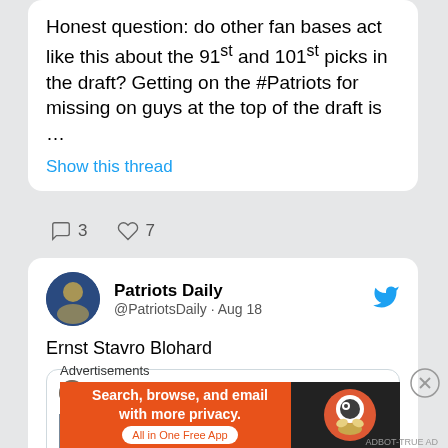Honest question: do other fan bases act like this about the 91st and 101st picks in the draft? Getting on the #Patriots for missing on guys at the top of the draft is …
Show this thread
3  7
Patriots Daily @PatriotsDaily · Aug 18
Ernst Stavro Blohard
C... @GreenBanan... · Aug 18  I mean this is some straight up supervillain shit right here, I mean
Advertisements
Search, browse, and email with more privacy. All in One Free App